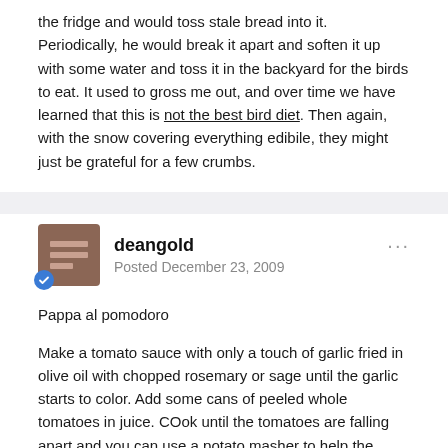the fridge and would toss stale bread into it. Periodically, he would break it apart and soften it up with some water and toss it in the backyard for the birds to eat. It used to gross me out, and over time we have learned that this is not the best bird diet. Then again, with the snow covering everything edibile, they might just be grateful for a few crumbs.
deangold
Posted December 23, 2009
Pappa al pomodoro
Make a tomato sauce with only a touch of garlic fried in olive oil with chopped rosemary or sage until the garlic starts to color. Add some cans of peeled whole tomatoes in juice. COok until the tomatoes are falling apart and you can use a potato masher to help the process along. When the tomatoes have a good, saucy density, add cubed stale bread and cook until the bread falls apart. again, the potato masher might be of help. At this point, the soup should be thick enough that almost nothing drips from a